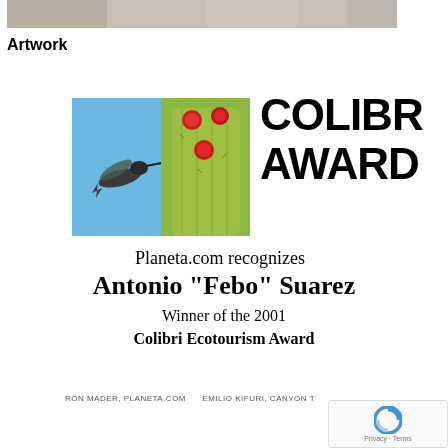[Figure (photo): Partial top photo strip showing people in background]
Artwork
[Figure (photo): Colibri award image: hummingbird in flight on left side, cactus with red flowers on right side, blue sky background]
COLIBRI AWARD
Planeta.com recognizes
Antonio "Febo" Suarez
Winner of the 2001 Colibri Ecotourism Award
RON MADER, PLANETA.COM       EMILIO KIFURI, CANYON T